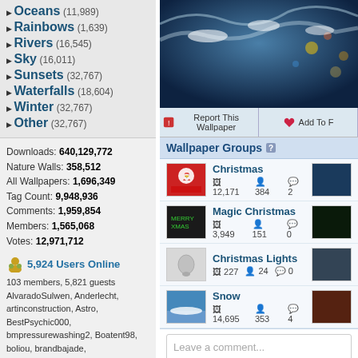Oceans (11,989)
Rainbows (1,639)
Rivers (16,545)
Sky (16,011)
Sunsets (32,767)
Waterfalls (18,604)
Winter (32,767)
Other (32,767)
Downloads: 640,129,772
Nature Walls: 358,512
All Wallpapers: 1,696,349
Tag Count: 9,948,936
Comments: 1,959,854
Members: 1,565,068
Votes: 12,971,712
5,924 Users Online
103 members, 5,821 guests
AlvaradoSulwen, Anderlecht, artinconstruction, Astro, BestPsychic000, bmpressurewashing2, Boatent98, boliou, brandbajade, bridgecounseling, brighterfinance, CarrollDentistry, cell-phone-hacking, chatonfragile, Cleaners567, ColbyRichardson, cortez68341, crypticpixelseo, cupidc657, deborahhinkley, doyleplumbinggroup, driverjoe, duanvinhomescom, dubmovie, enailvietnam, erahobb,
[Figure (photo): Christmas winter wallpaper with snow-covered branches and bokeh lights]
Report This Wallpaper
Add To F
Wallpaper Groups
Christmas — 12,171 images, 384 members, 2 comments
Magic Christmas — 3,949 images, 151 members, 0 comments
Christmas Lights — 227 images, 24 members, 0 comments
Snow — 14,695 images, 353 members, 4 comments
Leave a comment...
Wallpaper Comments (3)